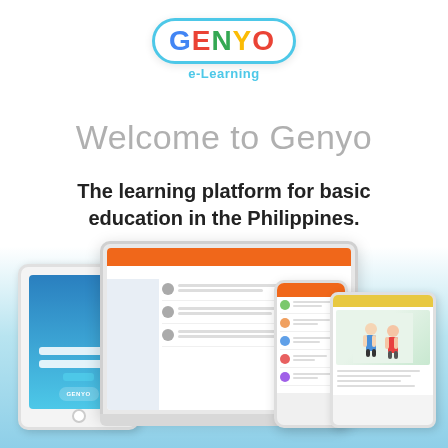[Figure (logo): GENYO e-Learning logo with colorful letters in a rounded pill shape with cyan border]
Welcome to Genyo
The learning platform for basic education in the Philippines.
[Figure (screenshot): Multiple devices (tablet, laptop, smartphone, tablet) showing the Genyo e-Learning platform interface]